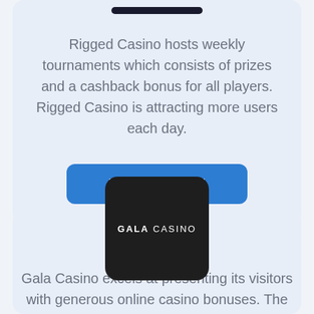[Figure (screenshot): Dark top bar/notch element at top of card]
Rigged Casino hosts weekly tournaments which consists of prizes and a cashback bonus for all players. Rigged Casino is attracting more users each day.
[Figure (other): Blue READ REVIEW button]
[Figure (logo): Gala Casino logo on dark rounded square background]
Gala Casino excels at presenting its visitors with generous online casino bonuses. The